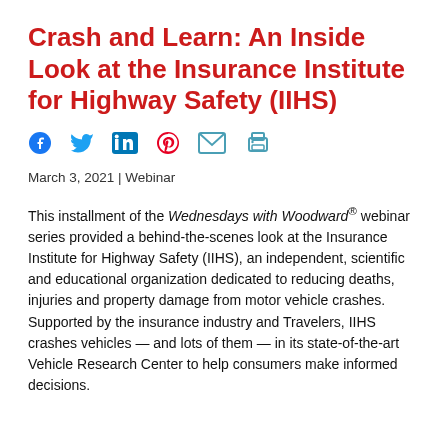Crash and Learn: An Inside Look at the Insurance Institute for Highway Safety (IIHS)
[Figure (infographic): Row of social sharing icons: Facebook, Twitter, LinkedIn, Pinterest, Email, Print]
March 3, 2021 | Webinar
This installment of the Wednesdays with Woodward® webinar series provided a behind-the-scenes look at the Insurance Institute for Highway Safety (IIHS), an independent, scientific and educational organization dedicated to reducing deaths, injuries and property damage from motor vehicle crashes. Supported by the insurance industry and Travelers, IIHS crashes vehicles — and lots of them — in its state-of-the-art Vehicle Research Center to help consumers make informed decisions.